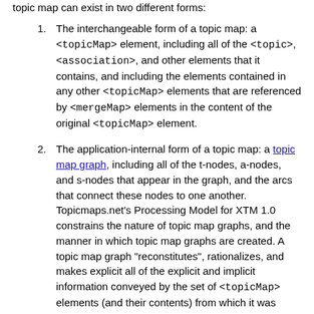topic map can exist in two different forms:
The interchangeable form of a topic map: a <topicMap> element, including all of the <topic>, <association>, and other elements that it contains, and including the elements contained in any other <topicMap> elements that are referenced by <mergeMap> elements in the content of the original <topicMap> element.
The application-internal form of a topic map: a topic map graph, including all of the t-nodes, a-nodes, and s-nodes that appear in the graph, and the arcs that connect these nodes to one another. Topicmaps.net's Processing Model for XTM 1.0 constrains the nature of topic map graphs, and the manner in which topic map graphs are created. A topic map graph "reconstitutes", rationalizes, and makes explicit all of the explicit and implicit information conveyed by the set of <topicMap> elements (and their contents) from which it was created. Topic map graphs may be used interactively and directly by applications, or they may be rendered (formatted) for use by applications that cannot use topic map graphs